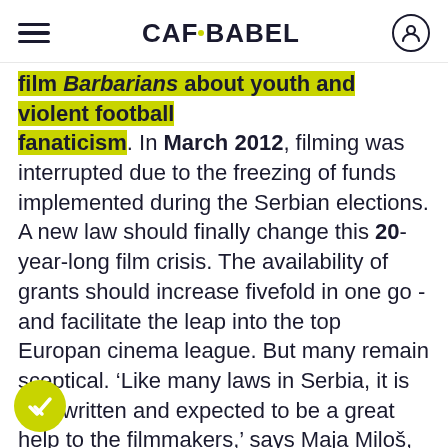CAFEBABEL
film Barbarians about youth and violent football fanaticism. In March 2012, filming was interrupted due to the freezing of funds implemented during the Serbian elections. A new law should finally change this 20-year-long film crisis. The availability of grants should increase fivefold in one go - and facilitate the leap into the top Europan cinema league. But many remain sceptical. ‘Like many laws in Serbia, it is well written and expected to be a great help to the filmmakers,’ says Maja Miloš, ‘but we must now wait and see when and how it will be put into practice.’